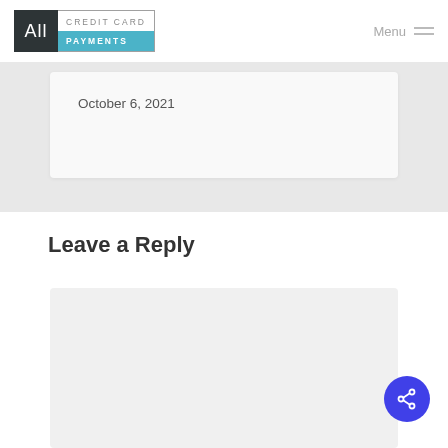All Credit Card Payments | Menu
October 6, 2021
Leave a Reply